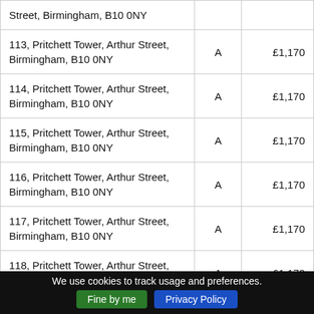| Street, Birmingham, B10 0NY |  |  |
| 113, Pritchett Tower, Arthur Street, Birmingham, B10 0NY | A | £1,170 |
| 114, Pritchett Tower, Arthur Street, Birmingham, B10 0NY | A | £1,170 |
| 115, Pritchett Tower, Arthur Street, Birmingham, B10 0NY | A | £1,170 |
| 116, Pritchett Tower, Arthur Street, Birmingham, B10 0NY | A | £1,170 |
| 117, Pritchett Tower, Arthur Street, Birmingham, B10 0NY | A | £1,170 |
| 118, Pritchett Tower, Arthur Street, Birmingham, B10 0NY | A | £1,170 |
We use cookies to track usage and preferences. Fine by me  Privacy Policy